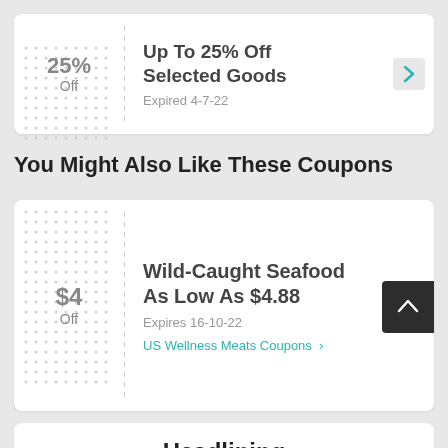[Figure (infographic): Coupon card: 25% Off Selected Goods, Expired 4-7-22]
Up To 25% Off Selected Goods
Expired 4-7-22
You Might Also Like These Coupons
[Figure (infographic): Coupon card: Wild-Caught Seafood As Low As $4.88, $4 Off, Expires 16-10-22, US Wellness Meats Coupons]
Wild-Caught Seafood As Low As $4.88
Expires 16-10-22
US Wellness Meats Coupons >
Headlining